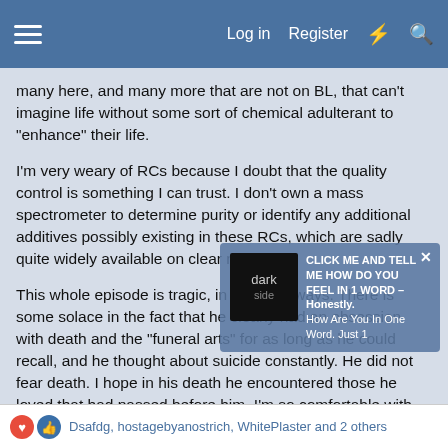Log in  Register
many here, and many more that are not on BL, that can't imagine life without some sort of chemical adulterant to “enhance” their life.
I'm very weary of RCs because I doubt that the quality control is something I can trust. I don't own a mass spectrometer to determine purity or identify any additional additives possibly existing in these RCs, which are sadly quite widely available on clear net sites.
This whole episode is tragic, in so many ways. There is some solace in the fact that he clearly had an obsession with death and the “funeral arts” for as long as he could recall, and he thought about suicide constantly. He did not fear death. I hope in his death he encountered those he loved that had passed before him. I’m so comfortable with the fact that this was his belief, and I hope that he located his lost loves.
Dsafdg, hostagebyanostrich, WhitePlaster and 2 others